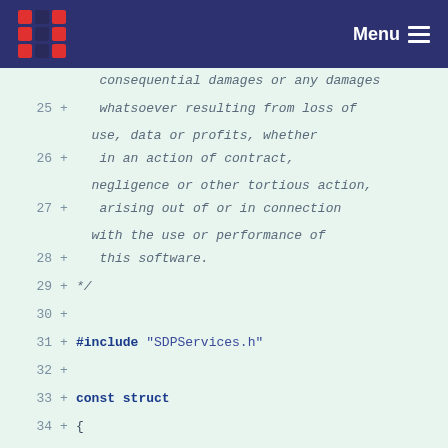Menu
Code diff view showing lines 25-37 of a C source file with SDPServices.h include and struct definition
25 +   whatsoever resulting from loss of use, data or profits, whether
26 +   in an action of contract, negligence or other tortious action,
27 +   arising out of or in connection with the use or performance of
28 +   this software.
29 + */
30 +
31 + #include "SDPServices.h"
32 +
33 + const struct
34 + {
35 +         uint8_t  Header;
36 +         uint32_t Data;
37 + } PROGMEM SDP_Attribute_ServiceHandle = {(SDP_DATATYPE_UnsignedInt | SDP_DATASIZE_32Bit),